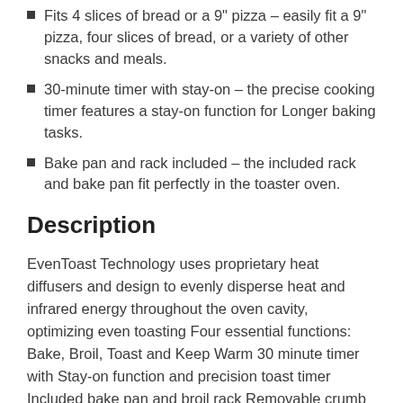Fits 4 slices of bread or a 9" pizza – easily fit a 9" pizza, four slices of bread, or a variety of other snacks and meals.
30-minute timer with stay-on – the precise cooking timer features a stay-on function for Longer baking tasks.
Bake pan and rack included – the included rack and bake pan fit perfectly in the toaster oven.
Description
EvenToast Technology uses proprietary heat diffusers and design to evenly disperse heat and infrared energy throughout the oven cavity, optimizing even toasting Four essential functions: Bake, Broil, Toast and Keep Warm 30 minute timer with Stay-on function and precision toast timer Included bake pan and broil rack Removable crumb tray for easy cleaning Fits a variety of snacks and